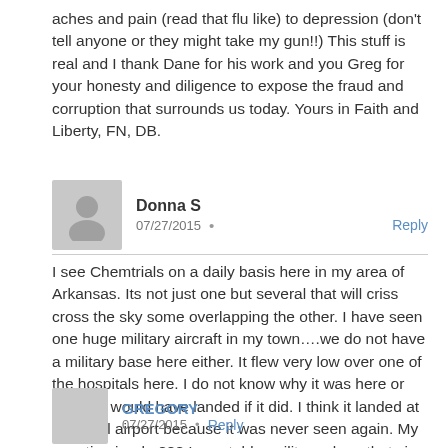aches and pain (read that flu like) to depression (don't tell anyone or they might take my gun!!) This stuff is real and I thank Dane for his work and you Greg for your honesty and diligence to expose the fraud and corruption that surrounds us today. Yours in Faith and Liberty, FN, DB.
Donna S  07/27/2015 • Reply
I see Chemtrials on a daily basis here in my area of Arkansas. Its not just one but several that will criss cross the sky some overlapping the other. I have seen one huge military aircraft in my town….we do not have a military base here either. It flew very low over one of the hospitals here. I do not know why it was here or where it would have landed if it did. I think it landed at our local airport because it was never seen again. My question is why??? I was told a military plane that size could not land at our airport. Well, it went somewhere that day! This was way before Jade Helm 15. It was in 2014.
GREGORY  07/27/2015 • Reply